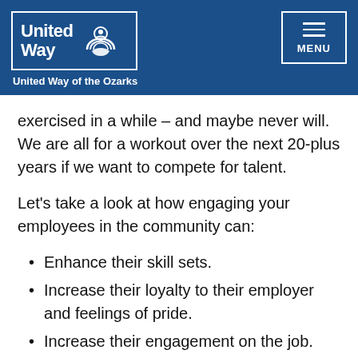United Way of the Ozarks — MENU
exercised in a while – and maybe never will. We are all for a workout over the next 20-plus years if we want to compete for talent.
Let's take a look at how engaging your employees in the community can:
Enhance their skill sets.
Increase their loyalty to their employer and feelings of pride.
Increase their engagement on the job.